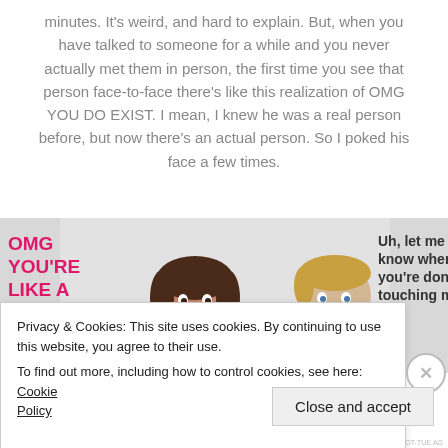minutes. It's weird, and hard to explain. But, when you have talked to someone for a while and you never actually met them in person, the first time you see that person face-to-face there's like this realization of OMG YOU DO EXIST. I mean, I knew he was a real person before, but now there's an actual person. So I poked his face a few times.
[Figure (illustration): Comic illustration showing two cartoon characters. On the left, pink bold text reads 'OMG YOU'RE LIKE A REAL PERSON' next to a girl character. On the right, text reads 'Uh, let me know when you're done touching my face' next to a crying boy character being poked. Background is light gray with watermark.]
Privacy & Cookies: This site uses cookies. By continuing to use this website, you agree to their use.
To find out more, including how to control cookies, see here: Cookie Policy
Close and accept